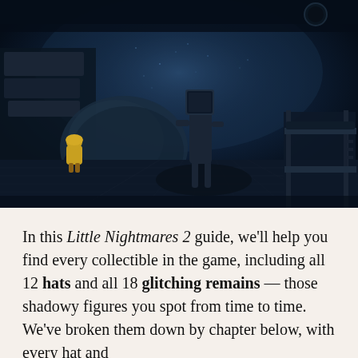[Figure (screenshot): Dark atmospheric game screenshot from Little Nightmares 2 showing a dimly lit wooden floor room with a small yellow-raincoat character on the left, a tall thin creature with a rectangular head in the center, bunk beds on the right, and general eerie blue-dark lighting.]
In this Little Nightmares 2 guide, we'll help you find every collectible in the game, including all 12 hats and all 18 glitching remains — those shadowy figures you spot from time to time. We've broken them down by chapter below, with every hat and